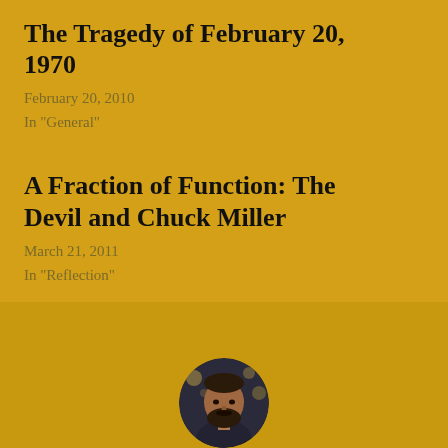The Tragedy of February 20, 1970
February 20, 2010
In "General"
A Fraction of Function: The Devil and Chuck Miller
March 21, 2011
In "Reflection"
[Figure (photo): Circular avatar photo of a bearded man in a dark setting]